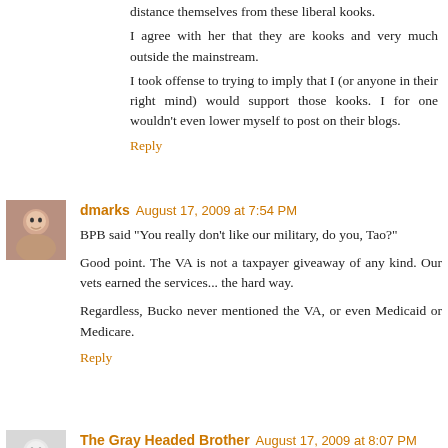distance themselves from these liberal kooks.
I agree with her that they are kooks and very much outside the mainstream.
I took offense to trying to imply that I (or anyone in their right mind) would support those kooks. I for one wouldn't even lower myself to post on their blogs.
Reply
dmarks  August 17, 2009 at 7:54 PM
BPB said "You really don't like our military, do you, Tao?"

Good point. The VA is not a taxpayer giveaway of any kind. Our vets earned the services... the hard way.

Regardless, Bucko never mentioned the VA, or even Medicaid or Medicare.
Reply
The Gray Headed Brother  August 17, 2009 at 8:07 PM